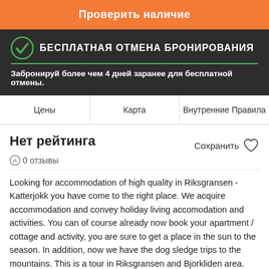Проверить наличие
БЕСПЛАТНАЯ ОТМЕНА БРОНИРОВАНИЯ
Забронируй более чем 4 дней заранее для бесплатной отмены.
Цены | Карта | Внутренние Правила
Нет рейтинга
0 отзывы
Сохранить
Looking for accommodation of high quality in Riksgransen - Katterjokk you have come to the right place. We acquire accommodation and convey holiday living accomodation and activities. You can of course already now book your apartment / cottage and activity, you are sure to get a place in the sun to the season. In addition, now we have the dog sledge trips to the mountains. This is a tour in Riksgransen and Bjorkliden area. From December 22 to the end of May, giving a tour and historical overview of the span dog's origin. Comfortable, relaxing on a big sled, you will get answers to questions why old-time postman, explorers and